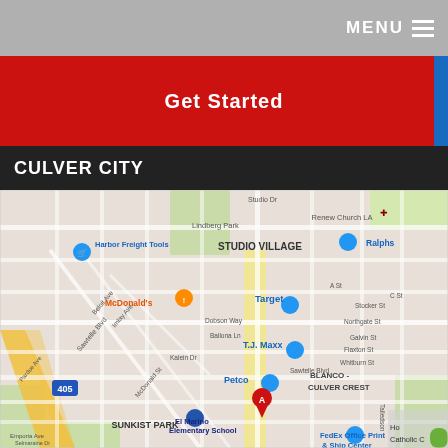MENU
Get Started
CULVER CITY
[Figure (map): Google Maps showing Culver City area with location marker A on Sawtelle Blvd. Visible landmarks include Harbor Freight Tools, McDonald's, Lindberg Park, Studio Village, Ralphs, Target, T.J. Maxx, Petco, El Marino Elementary School, FedEx Office Print & Ship Center, Blanco-Culver Crest neighborhood, and Sunkist Park. Interstate 405 visible on the left side.]